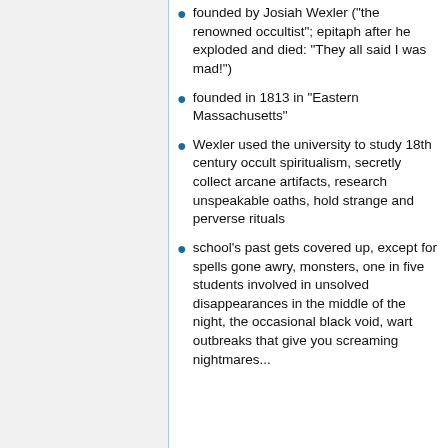founded by Josiah Wexler ("the renowned occultist"; epitaph after he exploded and died: "They all said I was mad!")
founded in 1813 in "Eastern Massachusetts"
Wexler used the university to study 18th century occult spiritualism, secretly collect arcane artifacts, research unspeakable oaths, hold strange and perverse rituals
school's past gets covered up, except for spells gone awry, monsters, one in five students involved in unsolved disappearances in the middle of the night, the occasional black void, wart outbreaks that give you screaming nightmares...